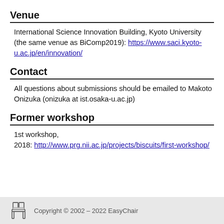Venue
International Science Innovation Building, Kyoto University (the same venue as BiComp2019): https://www.saci.kyoto-u.ac.jp/en/innovation/
Contact
All questions about submissions should be emailed to Makoto Onizuka (onizuka at ist.osaka-u.ac.jp)
Former workshop
1st workshop, 2018: http://www.prg.nii.ac.jp/projects/biscuits/first-workshop/
Copyright © 2002 – 2022 EasyChair